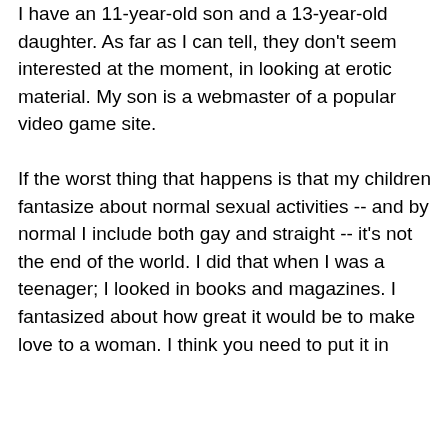I have an 11-year-old son and a 13-year-old daughter. As far as I can tell, they don't seem interested at the moment, in looking at erotic material. My son is a webmaster of a popular video game site.

If the worst thing that happens is that my children fantasize about normal sexual activities -- and by normal I include both gay and straight -- it's not the end of the world. I did that when I was a teenager; I looked in books and magazines. I fantasized about how great it would be to make love to a woman. I think you need to put it in